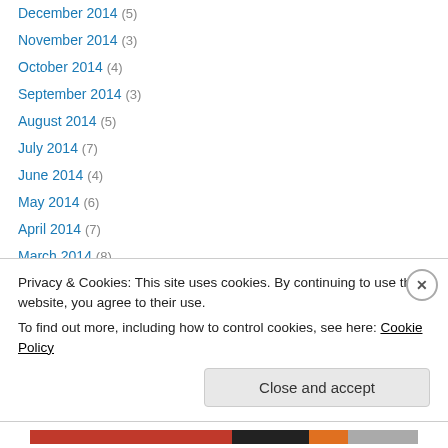December 2014 (5)
November 2014 (3)
October 2014 (4)
September 2014 (3)
August 2014 (5)
July 2014 (7)
June 2014 (4)
May 2014 (6)
April 2014 (7)
March 2014 (8)
February 2014 (6)
January 2014 (8)
December 2013 (8)
November 2013 (7)
Privacy & Cookies: This site uses cookies. By continuing to use this website, you agree to their use. To find out more, including how to control cookies, see here: Cookie Policy